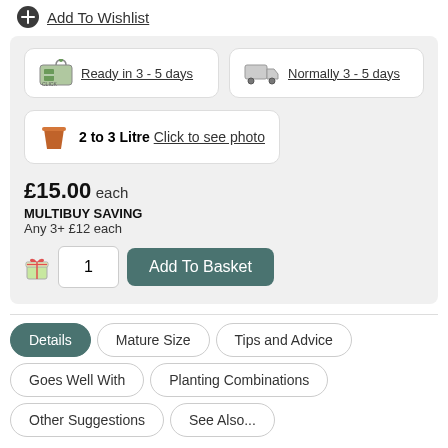Add To Wishlist
Ready in 3 - 5 days
Normally 3 - 5 days
2 to 3 Litre Click to see photo
£15.00 each
MULTIBUY SAVING
Any 3+ £12 each
Add To Basket
Details | Mature Size | Tips and Advice | Goes Well With | Planting Combinations | Other Suggestions | See Also...